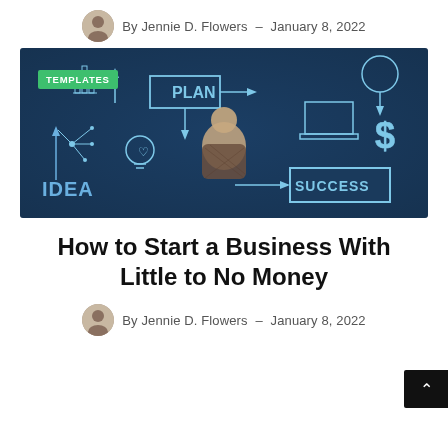By Jennie D. Flowers - January 8, 2022
[Figure (photo): Dark blue chalkboard background with a person viewed from behind, surrounded by hand-drawn business diagrams including IDEA, PLAN, SUCCESS flowchart with lightbulb, arrows, laptop, dollar sign, and a TEMPLATES badge overlay.]
How to Start a Business With Little to No Money
By Jennie D. Flowers - January 8, 2022